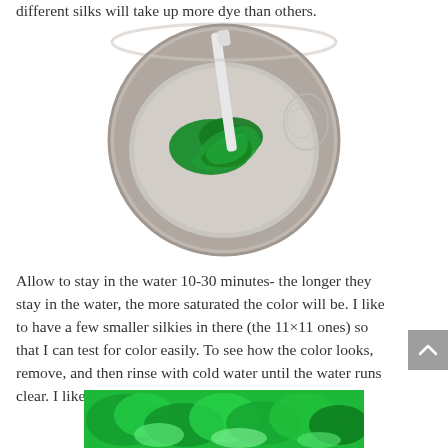different silks will take up more dye than others.
[Figure (photo): Overhead view of a metal pot with green-dyed silk fabric being stirred with a white utensil in water.]
Allow to stay in the water 10-30 minutes- the longer they stay in the water, the more saturated the color will be. I like to have a few smaller silkies in there (the 11×11 ones) so that I can test for color easily. To see how the color looks, remove, and then rinse with cold water until the water runs clear. I like how this looks, so I rinse them all.
[Figure (photo): Green dyed silk scarves laid out, showing various shades of green.]